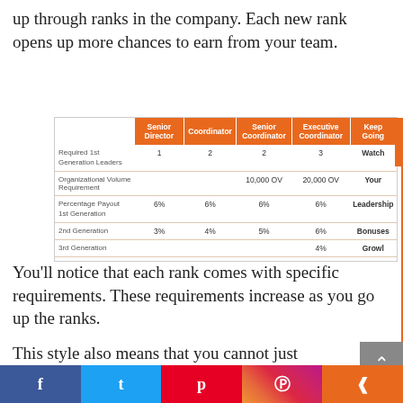up through ranks in the company. Each new rank opens up more chances to earn from your team.
|  | Senior Director | Coordinator | Senior Coordinator | Executive Coordinator | Keep Going |
| --- | --- | --- | --- | --- | --- |
| Required 1st Generation Leaders | 1 | 2 | 2 | 3 | Watch |
| Organizational Volume Requirement |  |  | 10,000 OV | 20,000 OV | Your |
| Percentage Payout
1st Generation | 6% | 6% | 6% | 6% | Leadership |
| 2nd Generation | 3% | 4% | 5% | 6% | Bonuses |
| 3rd Generation |  |  |  | 4% | Growl |
You'll notice that each rank comes with specific requirements. These requirements increase as you go up the ranks.
This style also means that you cannot just